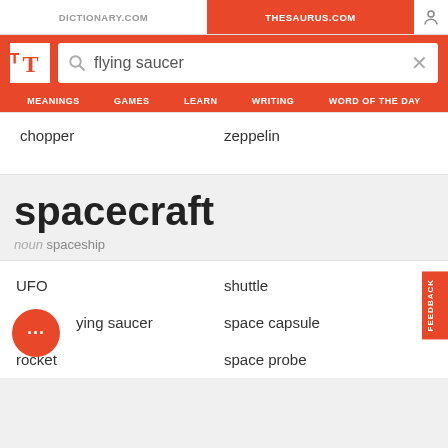DICTIONARY.COM | THESAURUS.COM
[Figure (screenshot): Thesaurus.com website header with logo, search bar containing 'flying saucer', and navigation tabs: MEANINGS, GAMES, LEARN, WRITING, WORD OF THE DAY]
chopper   zeppelin
spacecraft
noun spaceship
UFO   shuttle   flying saucer   space capsule   rocket   space probe